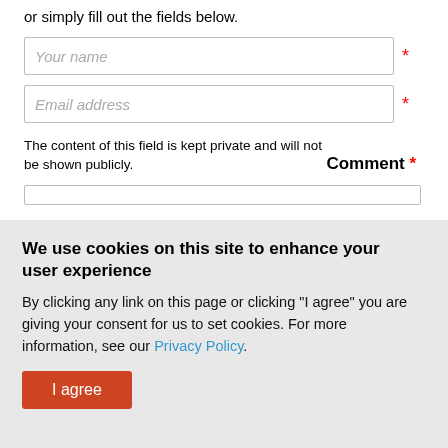or simply fill out the fields below.
Your name
Email address
The content of this field is kept private and will not be shown publicly.
Comment *
We use cookies on this site to enhance your user experience
By clicking any link on this page or clicking "I agree" you are giving your consent for us to set cookies. For more information, see our Privacy Policy.
I agree